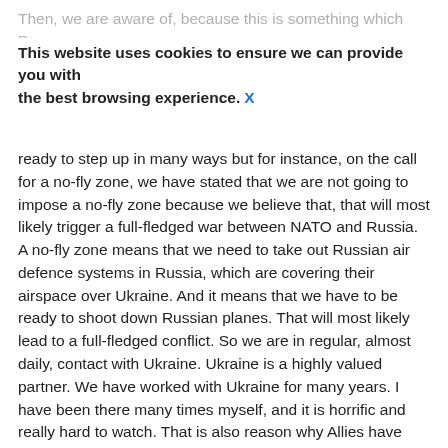Then, we are aware of, because this is something which President Zelensky has been raising and he has expressed several times to us that they are grateful for the support, but they want us to do even more. We are ready to step up in many ways but for instance, on the call for a no-fly zone, we have stated that we are not going to impose a no-fly zone because we believe that, that will most likely trigger a full-fledged war between NATO and Russia. A no-fly zone means that we need to take out Russian air defence systems in Russia, which are covering their airspace over Ukraine. And it means that we have to be ready to shoot down Russian planes. That will most likely lead to a full-fledged conflict. So we are in regular, almost daily, contact with Ukraine. Ukraine is a highly valued partner. We have worked with Ukraine for many years. I have been there many times myself, and it is horrific and really hard to watch. That is also reason why Allies have provided so much support but also have imposed unprecedented sanctions on Russia to ensure that this war ends.